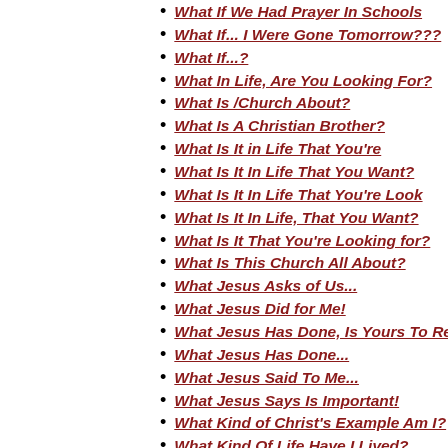What If We Had Prayer In Schools
What If... I Were Gone Tomorrow???
What If...?
What In Life, Are You Looking For?
What Is /Church About?
What Is A Christian Brother?
What Is It in Life That You're
What Is It In Life That You Want?
What Is It In Life That You're Look
What Is It In Life, That You Want?
What Is It That You're Looking for?
What Is This Church All About?
What Jesus Asks of Us...
What Jesus Did for Me!
What Jesus Has Done, Is Yours To Re
What Jesus Has Done...
What Jesus Said To Me...
What Jesus Says Is Important!
What Kind of Christ's Example Am I?
What Kind Of Life Have I Lived?
What Kind of Life Will You Choose?
What Kind Of Relationship Do You Ha
What Made This Nation Great?
What Shall I Do, for the One Who's
What the Cross of Christ Speaks to
What This World Can Never Give...
What Was I to Do, to the One
What Will Be Your Eternal Reward?
What Will God Say About My Life?
What Will I Do? Where Will I Go?
What Will I Do? My People Di...